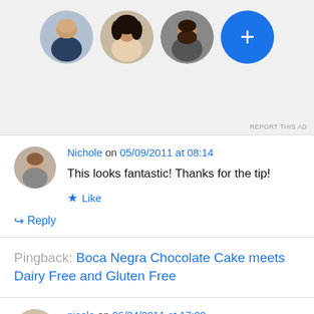[Figure (illustration): Ad section with four circular avatar images (three profile photos and one blue plus button), and 'REPORT THIS AD' text in bottom right]
Nichole on 05/09/2011 at 08:14
This looks fantastic! Thanks for the tip!
★ Like
↳ Reply
Pingback: Boca Negra Chocolate Cake meets Dairy Free and Gluten Free
nicole on 06/24/2011 at 17:00
This is great idea! I'm going to make it this